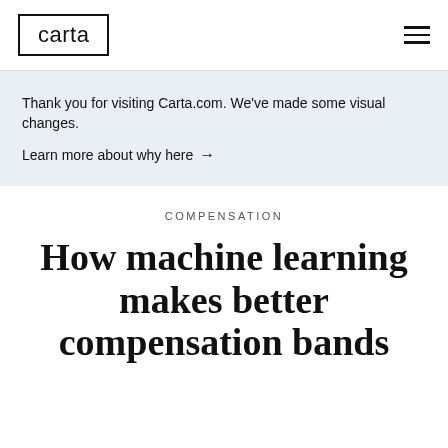carta
Thank you for visiting Carta.com. We’ve made some visual changes.
Learn more about why here →
COMPENSATION
How machine learning makes better compensation bands